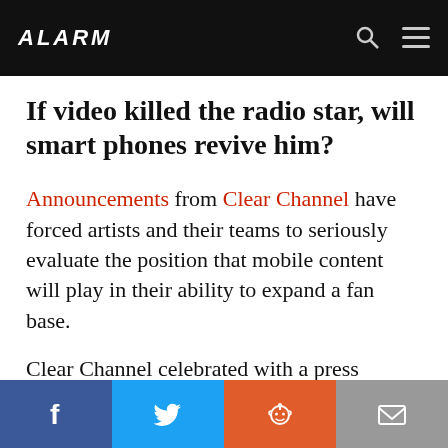ALARM
If video killed the radio star, will smart phones revive him?
Announcements from Clear Channel have forced artists and their teams to seriously evaluate the position that mobile content will play in their ability to expand a fan base.
Clear Channel celebrated with a press release, indicating that they had almost